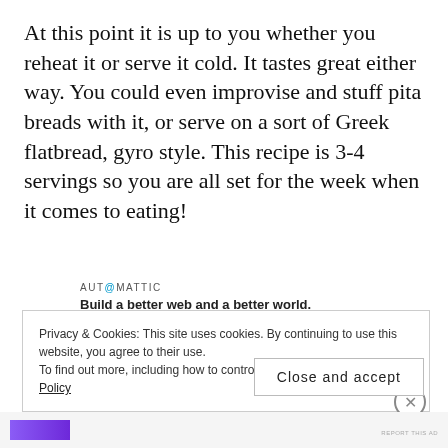At this point it is up to you whether you reheat it or serve it cold. It tastes great either way. You could even improvise and stuff pita breads with it, or serve on a sort of Greek flatbread, gyro style. This recipe is 3-4 servings so you are all set for the week when it comes to eating!
[Figure (logo): Automattic logo with tagline: Build a better web and a better world.]
REPORT THIS AD
Privacy & Cookies: This site uses cookies. By continuing to use this website, you agree to their use.
To find out more, including how to control cookies, see here: Cookie Policy
Close and accept